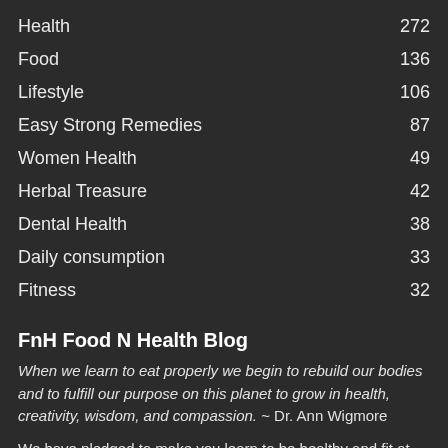Health  272
Food  136
Lifestyle  106
Easy Strong Remedies  87
Women Health  49
Herbal Treasure  42
Dental Health  38
Daily consumption  33
Fitness  32
FnH Food N Health Blog
When we learn to eat properly we begin to rebuild our bodies and to fulfill our purpose on this planet to grow in health, creativity, wisdom, and compassion. ~ Dr. Ann Wigmore
We have pledged to make you learn to be healthy and fit at